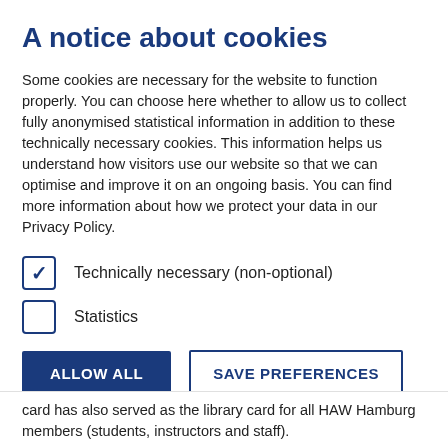A notice about cookies
Some cookies are necessary for the website to function properly. You can choose here whether to allow us to collect fully anonymised statistical information in addition to these technically necessary cookies. This information helps us understand how visitors use our website so that we can optimise and improve it on an ongoing basis. You can find more information about how we protect your data in our Privacy Policy.
☑ Technically necessary (non-optional)
☐ Statistics
ALLOW ALL   SAVE PREFERENCES
card has also served as the library card for all HAW Hamburg members (students, instructors and staff).